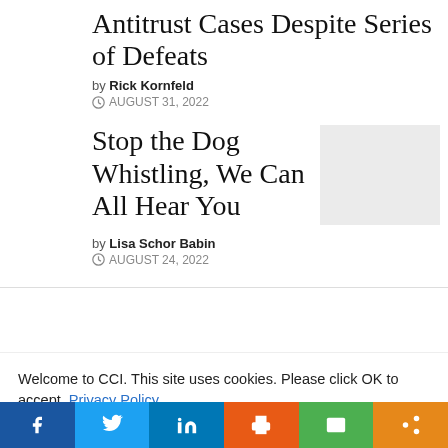Antitrust Cases Despite Series of Defeats
by Rick Kornfeld
AUGUST 31, 2022
Stop the Dog Whistling, We Can All Hear You
[Figure (photo): Placeholder image for article thumbnail]
by Lisa Schor Babin
AUGUST 24, 2022
Welcome to CCI. This site uses cookies. Please click OK to accept. Privacy Policy
Cookie settings
ACCEPT